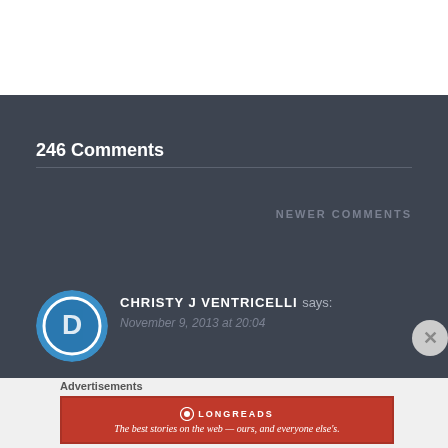246 Comments
NEWER COMMENTS
CHRISTY J VENTRICELLI says:
November 9, 2013 at 20:04
Advertisements
[Figure (logo): Longreads advertisement banner: red background with Longreads logo and text 'The best stories on the web — ours, and everyone else's.']